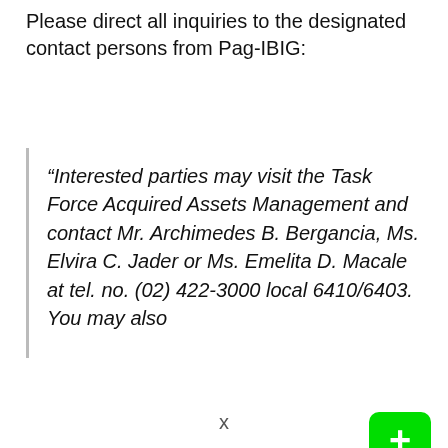Please direct all inquiries to the designated contact persons from Pag-IBIG:
“Interested parties may visit the Task Force Acquired Assets Management and contact Mr. Archimedes B. Bergancia, Ms. Elvira C. Jader or Ms. Emelita D. Macale at tel. no. (02) 422-3000 local 6410/6403. You may also